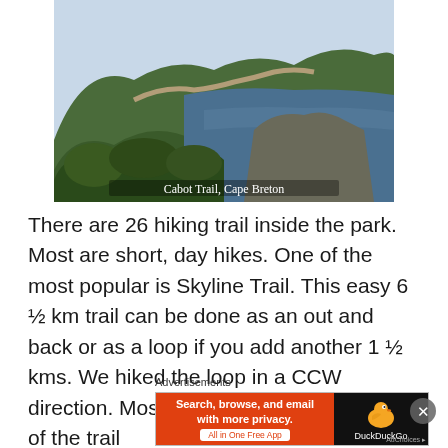[Figure (photo): Aerial coastal landscape photo of Cabot Trail, Cape Breton — showing green forested hills, a road winding along the hillside, rocky coastline, and blue ocean water]
Cabot Trail, Cape Breton
There are 26 hiking trail inside the park. Most are short, day hikes. One of the most popular is Skyline Trail. This easy 6 ½ km trail can be done as an out and back or as a loop if you add another 1 ½ kms. We hiked the loop in a CCW direction. Most people take the left branch of the trail
Advertisements
[Figure (screenshot): DuckDuckGo advertisement banner: orange left panel with text 'Search, browse, and email with more privacy. All in One Free App' and dark right panel with DuckDuckGo duck logo and text 'DuckDuckGo']